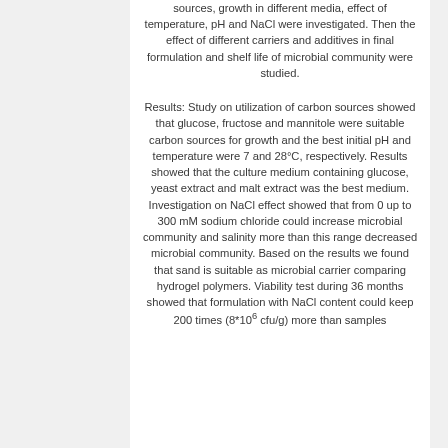sources, growth in different media, effect of temperature, pH and NaCl were investigated. Then the effect of different carriers and additives in final formulation and shelf life of microbial community were studied.
Results: Study on utilization of carbon sources showed that glucose, fructose and mannitole were suitable carbon sources for growth and the best initial pH and temperature were 7 and 28°C, respectively. Results showed that the culture medium containing glucose, yeast extract and malt extract was the best medium. Investigation on NaCl effect showed that from 0 up to 300 mM sodium chloride could increase microbial community and salinity more than this range decreased microbial community. Based on the results we found that sand is suitable as microbial carrier comparing hydrogel polymers. Viability test during 36 months showed that formulation with NaCl content could keep 200 times (8*106 cfu/g) more than samples